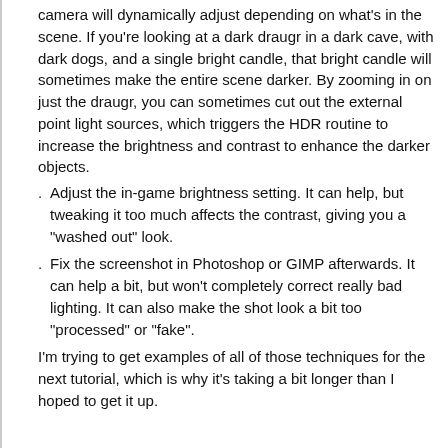camera will dynamically adjust depending on what's in the scene.  If you're looking at a dark draugr in a dark cave, with dark dogs, and a single bright candle, that bright candle will sometimes make the entire scene darker.  By zooming in on just the draugr, you can sometimes cut out the external point light sources, which triggers the HDR routine to increase the brightness and contrast to enhance the darker objects.
Adjust the in-game brightness setting.  It can help, but tweaking it too much affects the contrast, giving you a "washed out" look.
Fix the screenshot in Photoshop or GIMP afterwards.  It can help a bit, but won't completely correct really bad lighting.  It can also make the shot look a bit too "processed" or "fake".
I'm trying to get examples of all of those techniques for the next tutorial, which is why it's taking a bit longer than I hoped to get it up.